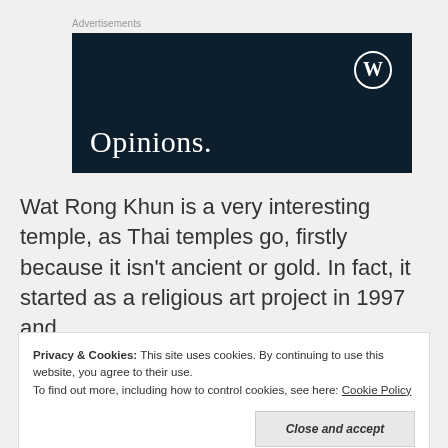Advertisements
[Figure (illustration): WordPress Opinions advertisement banner — dark navy background with WordPress logo (W in circle) top right, and text 'Opinions.' in white serif font at bottom left]
Wat Rong Khun is a very interesting temple, as Thai temples go, firstly because it isn't ancient or gold. In fact, it started as a religious art project in 1997 and
Privacy & Cookies: This site uses cookies. By continuing to use this website, you agree to their use.
To find out more, including how to control cookies, see here: Cookie Policy
Close and accept
vowed to restore it to its former glory within two